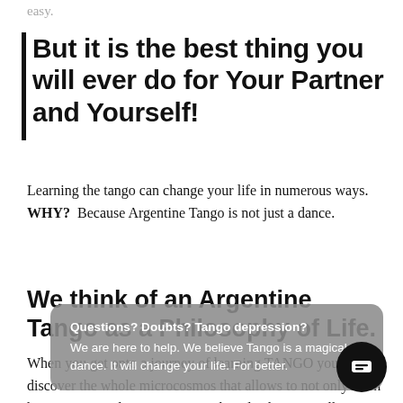easy.
But it is the best thing you will ever do for Your Partner and Yourself!
Learning the tango can change your life in numerous ways. WHY?  Because Argentine Tango is not just a dance.
We think of an Argentine Tango as a Philosophy of Life.
When you get onto a journey of learning TANGO you will discover the whole microcosmos that allows to not only learn how to partner dan… any music, but also how to walk correctly, st… correctly, built spatial awareness, use flexibility
[Figure (screenshot): Popup overlay with text: 'Questions? Doubts? Tango depression? We are here to help. We believe Tango is a magical dance. It will change your life. For better.' with a chat button in bottom right.]